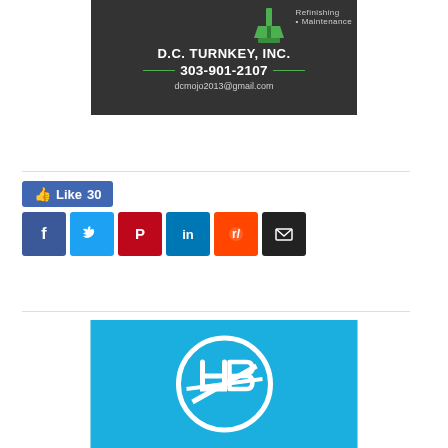[Figure (logo): D.C. Turnkey Inc. advertisement on dark background with green paint brush icon. Shows 'Refinishing', 'Maintenance', 'D.C. TURNKEY, INC.', '303-901-2107', 'dcmojo2013@gmail.com']
[Figure (infographic): Facebook Like button showing thumbs up icon and 'Like 30' text in blue]
[Figure (infographic): Row of 6 social media sharing buttons: Facebook (blue), Twitter (light blue), Pinterest (red), LinkedIn (dark blue), Reddit (orange), Email (black)]
[Figure (logo): Blue banner with white circular logo/emblem containing stylized letters]